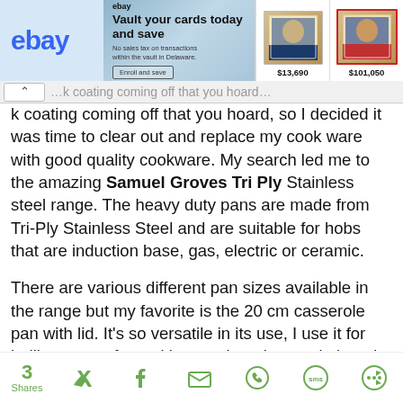[Figure (other): eBay advertisement banner: 'Vault your cards today and save. No sales tax on transactions within the vault in Delaware. Enroll and save.' with two trading card images priced at $13,690 and $101,050.]
k coating coming off that you hoard, so I decided it was time to clear out and replace my cook ware with good quality cookware. My search led me to the amazing Samuel Groves Tri Ply Stainless steel range. The heavy duty pans are made from Tri-Ply Stainless Steel and are suitable for hobs that are induction base, gas, electric or ceramic.
There are various different pan sizes available in the range but my favorite is the 20 cm casserole pan with lid. It's so versatile in its use, I use it for boiling pasta, for making stock and stews in it and its great for making a large batch of soup or chilli. The pans are dishwasher safe which is a must in today's kitchen. I also like that the handles are really secure and durable, unlike some of my cheaper pan where they are
3 Shares [Twitter] [Facebook] [Email] [WhatsApp] [SMS] [Other]